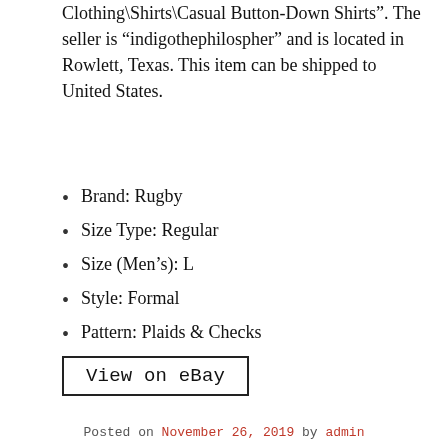Clothing\Shirts\Casual Button-Down Shirts". The seller is “indigothephilospher” and is located in Rowlett, Texas. This item can be shipped to United States.
Brand: Rugby
Size Type: Regular
Size (Men’s): L
Style: Formal
Pattern: Plaids & Checks
View on eBay
Posted on November 26, 2019 by admin